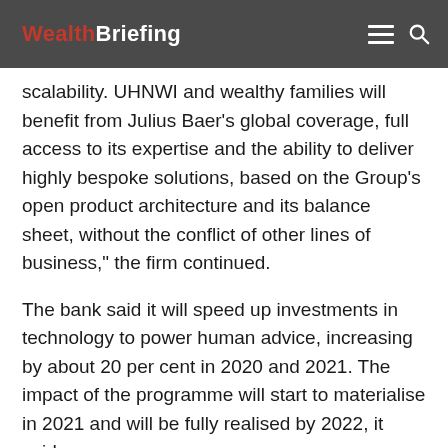WealthBriefing
scalability. UHNWI and wealthy families will benefit from Julius Baer’s global coverage, full access to its expertise and the ability to deliver highly bespoke solutions, based on the Group’s open product architecture and its balance sheet, without the conflict of other lines of business,” the firm continued.
The bank said it will speed up investments in technology to power human advice, increasing by about 20 per cent in 2020 and 2021. The impact of the programme will start to materialise in 2021 and will be fully realised by 2022, it said.